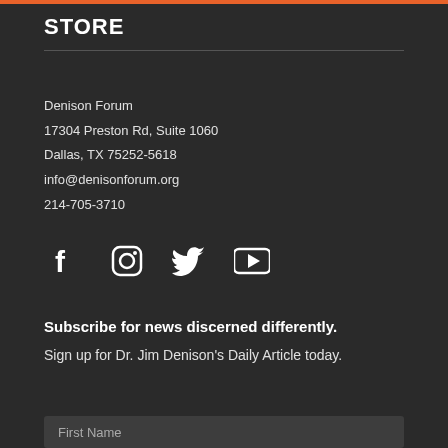STORE
Denison Forum
17304 Preston Rd, Suite 1060
Dallas, TX 75252-5618
info@denisonforum.org
214-705-3710
[Figure (infographic): Social media icons: Facebook, Instagram, Twitter, YouTube]
Subscribe for news discerned differently.
Sign up for Dr. Jim Denison's Daily Article today.
First Name